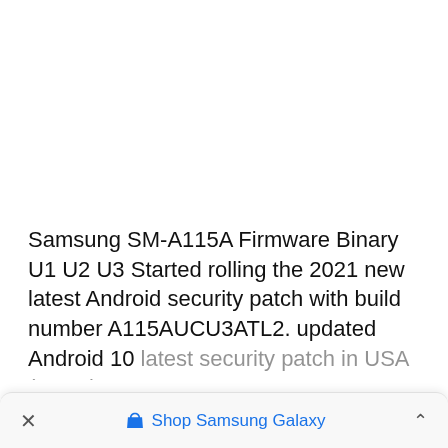Samsung SM-A115A Firmware Binary U1 U2 U3 Started rolling the 2021 new latest Android security patch with build number A115AUCU3ATL2. updated Android 10 latest security patch in USA (AT&T)
× Shop Samsung Galaxy ^